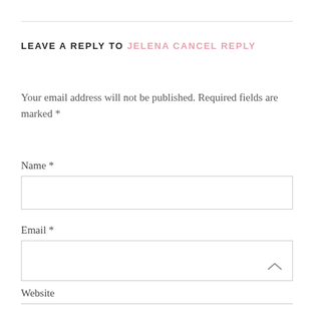LEAVE A REPLY TO JELENA CANCEL REPLY
Your email address will not be published. Required fields are marked *
Name *
Email *
Website